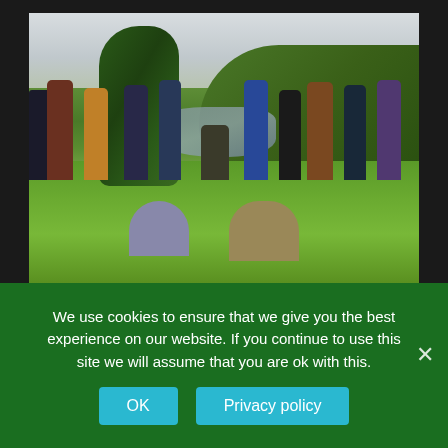[Figure (photo): A group of people standing in a circle outdoors on a grassy meadow next to a river or lake, with trees on the left and a wooded hill in the background. Several people are wearing outdoor clothing. Two people are seated in the foreground with their backs to the camera.]
We use cookies to ensure that we give you the best experience on our website. If you continue to use this site we will assume that you are ok with this.
OK
Privacy policy